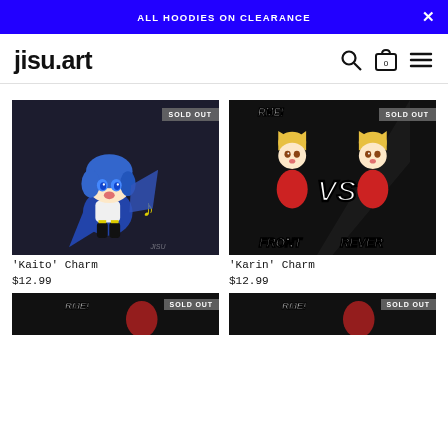ALL HOODIES ON CLEARANCE
jisu.art
[Figure (illustration): Chibi anime character Kaito with blue hair, blue cape, and yellow music note, on dark background. SOLD OUT badge in top right.]
'Kaito' Charm
$12.99
[Figure (illustration): Anime character Karin charm keychain showing two chibi girls with blonde hair facing each other with VS text, labeled FRONT and REVERSE. SOLD OUT badge in top right.]
'Karin' Charm
$12.99
[Figure (illustration): Partial product image at bottom left, dark background with RMES! text and figures, SOLD OUT badge.]
[Figure (illustration): Partial product image at bottom right, dark background with RMES! text and figures, SOLD OUT badge.]